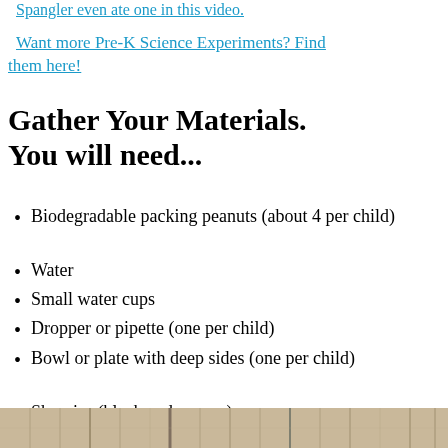Spangler even ate one in this video.
Want more Pre-K Science Experiments? Find them here!
Gather Your Materials. You will need...
Biodegradable packing peanuts (about 4 per child)
Water
Small water cups
Dropper or pipette (one per child)
Bowl or plate with deep sides (one per child)
Sharpies (black and orange)
[Figure (photo): Photo of wooden background or table surface, partially visible at bottom of page]